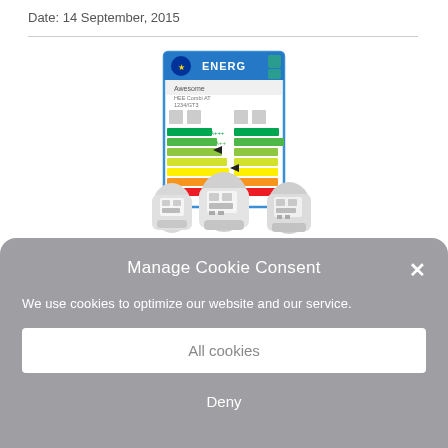Date: 14 September, 2015
[Figure (photo): Product image showing three white boiler/heating units in front of an EU Energy Label (ENERG label with color-coded efficiency bars in rainbow gradient from green to red), displayed as a screenshot of a product page.]
Manage Cookie Consent
We use cookies to optimize our website and our service.
All cookies
Deny